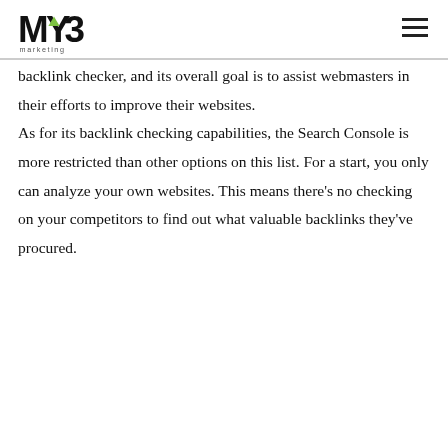MYB marketing
backlink checker, and its overall goal is to assist webmasters in their efforts to improve their websites.

As for its backlink checking capabilities, the Search Console is more restricted than other options on this list. For a start, you only can analyze your own websites. This means there's no checking on your competitors to find out what valuable backlinks they've procured.